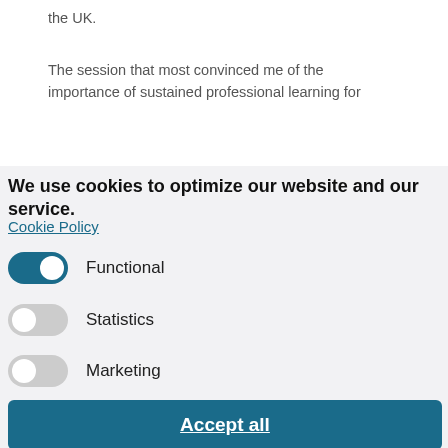the UK.
The session that most convinced me of the importance of sustained professional learning for
We use cookies to optimize our website and our service.
Cookie Policy
Functional
Statistics
Marketing
Accept all
Save preferences
mentioned at the beginning of this blog. There are 47